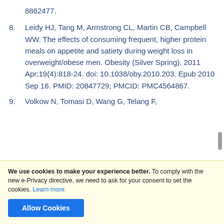8862477.
8. Leidy HJ, Tang M, Armstrong CL, Martin CB, Campbell WW. The effects of consuming frequent, higher protein meals on appetite and satiety during weight loss in overweight/obese men. Obesity (Silver Spring). 2011 Apr;19(4):818-24. doi: 10.1038/oby.2010.203. Epub 2010 Sep 16. PMID: 20847729; PMCID: PMC4564867.
9. Volkow N, Tomasi D, Wang G, Telang F…
We use cookies to make your experience better. To comply with the new e-Privacy directive, we need to ask for your consent to set the cookies. Learn more.